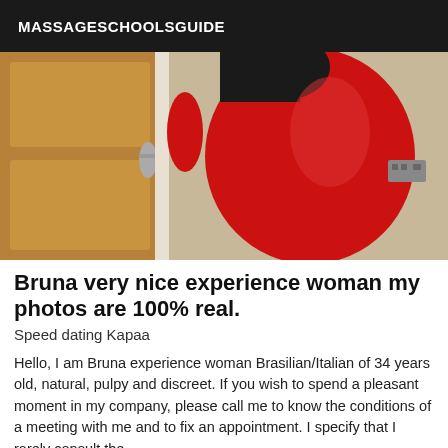MASSAGESCHOOLSGUIDE
[Figure (photo): A woman in a red dress photographed from behind near a door]
Bruna very nice experience woman my photos are 100% real.
Speed dating Kapaa
Hello, I am Bruna experience woman Brasilian/Italian of 34 years old, natural, pulpy and discreet. If you wish to spend a pleasant moment in my company, please call me to know the conditions of a meeting with me and to fix an appointment. I specify that I rarely consult the